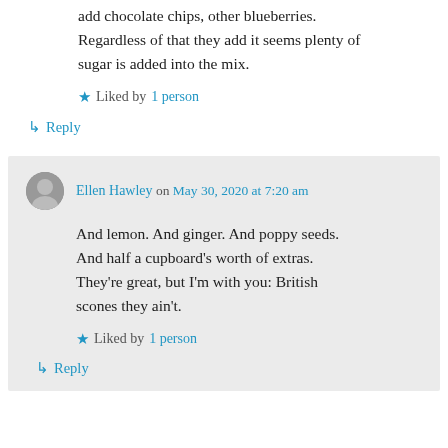add chocolate chips, other blueberries. Regardless of that they add it seems plenty of sugar is added into the mix.
★ Liked by 1 person
↳ Reply
Ellen Hawley on May 30, 2020 at 7:20 am
And lemon. And ginger. And poppy seeds. And half a cupboard's worth of extras. They're great, but I'm with you: British scones they ain't.
★ Liked by 1 person
↳ Reply